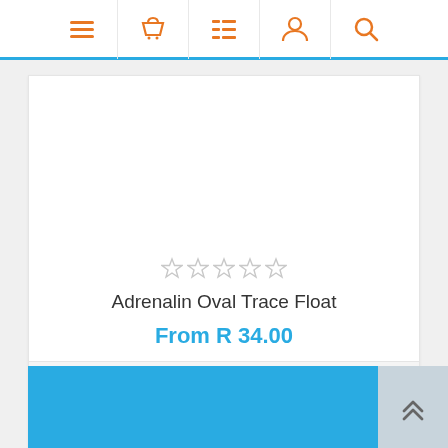[Figure (screenshot): E-commerce navigation bar with orange icons: hamburger menu, shopping basket, filter/list, user profile, search]
[Figure (other): Blank product image area (white)]
[Figure (other): Five empty star rating icons in light grey]
Adrenalin Oval Trace Float
From R 34.00
[Figure (other): Compare arrows icon and heart/wishlist icon in grey]
ADD TO CART
[Figure (other): Blue footer bar and back-to-top button with double chevron up arrows]